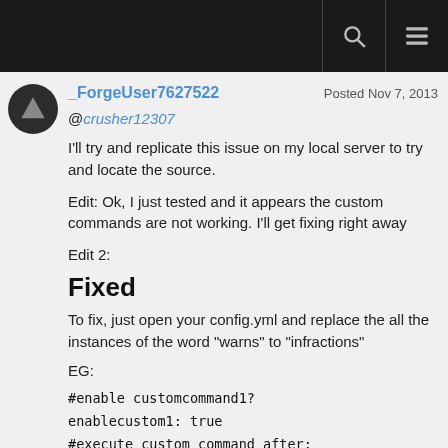_ForgeUser7627522   Posted Nov 7, 2013
@crusher12307
I'll try and replicate this issue on my local server to try and locate the source.
Edit: Ok, I just tested and it appears the custom commands are not working. I'll get fixing right away
Edit 2:
Fixed
To fix, just open your config.yml and replace the all the instances of the word "warns" to "infractions"
EG:
#enable customcommand1?
enablecustom1: true
#execute custom command after:
custom1infractions: 5